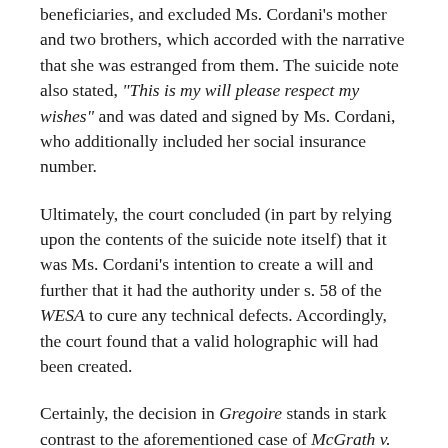beneficiaries, and excluded Ms. Cordani's mother and two brothers, which accorded with the narrative that she was estranged from them. The suicide note also stated, "This is my will please respect my wishes" and was dated and signed by Ms. Cordani, who additionally included her social insurance number.
Ultimately, the court concluded (in part by relying upon the contents of the suicide note itself) that it was Ms. Cordani's intention to create a will and further that it had the authority under s. 58 of the WESA to cure any technical defects. Accordingly, the court found that a valid holographic will had been created.
Certainly, the decision in Gregoire stands in stark contrast to the aforementioned case of McGrath v. Joy. Part of the differences between the two cases may be attributed to the different approaches of the two provinces to curing technical defects in wills;